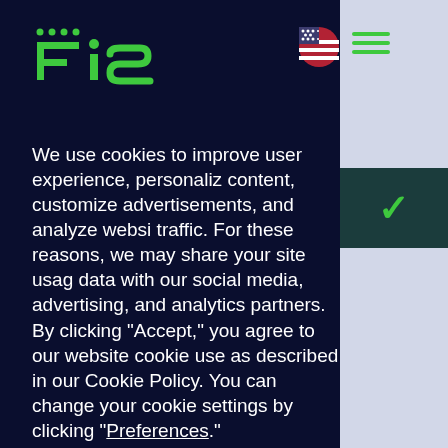[Figure (logo): FIS logo in green on dark navy background, top left]
[Figure (illustration): Globe/flag icon (US flag) and hamburger menu in top right area]
We use cookies to improve user experience, personalize content, customize advertisements, and analyze website traffic. For these reasons, we may share your site usage data with our social media, advertising, and analytics partners. By clicking “Accept,” you agree to our website cookie use as described in our Cookie Policy. You can change your cookie settings by clicking “Preferences.”
[Figure (screenshot): Dropdown navigation menu panel showing: back arrow, About Us header, Corporate Overview, Executive Team, Investors, and partially visible next item]
[Figure (illustration): Two green rounded rectangle buttons, partially visible, labeled 'De' and 'Ac' (Decline and Accept)]